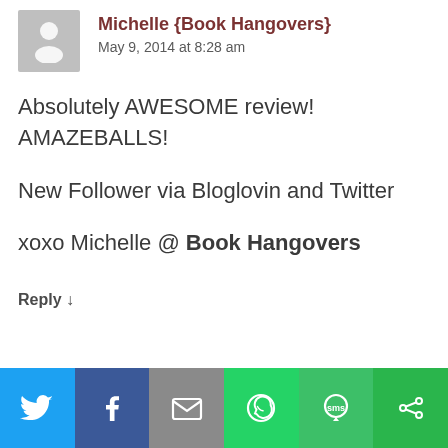Michelle {Book Hangovers} — May 9, 2014 at 8:28 am
Absolutely AWESOME review! AMAZEBALLS!
New Follower via Bloglovin and Twitter
xoxo Michelle @ Book Hangovers
Reply ↓
[Figure (infographic): Social sharing bar with six icons: Twitter (blue), Facebook (dark blue), Email (gray), WhatsApp (green), SMS (green), More/Share (green)]